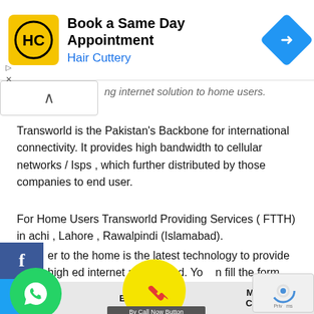[Figure (screenshot): Advertisement banner for Hair Cuttery: 'Book a Same Day Appointment' with yellow logo and blue diamond arrow icon]
ng internet solution to home users.
Transworld  is the Pakistan's Backbone for international connectivity. It provides high bandwidth to cellular networks / Isps , which further distributed by those companies to end user.
For Home Users Transworld Providing Services ( FTTH) in achi , Lahore , Rawalpindi (Islamabad).
er to the home is the latest technology to provide high ed internet at user end.  You can fill the form , inter city te will coordinate with you for further assistance.
[Figure (screenshot): Facebook share button (blue 'f'), Twitter share button (blue bird), WhatsApp circular green button, yellow phone call button, reCAPTCHA widget]
| SERVICE | BANDWIDTH / | MONTHLY CHARGES |
| --- | --- | --- |